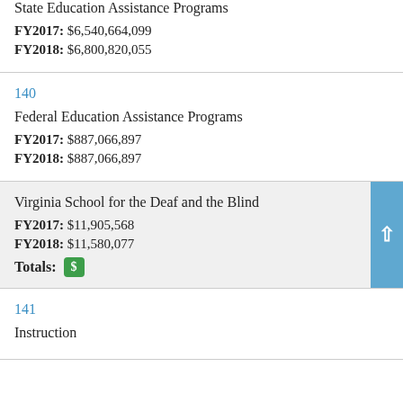State Education Assistance Programs
FY2017: $6,540,664,099
FY2018: $6,800,820,055
140
Federal Education Assistance Programs
FY2017: $887,066,897
FY2018: $887,066,897
Virginia School for the Deaf and the Blind
FY2017: $11,905,568
FY2018: $11,580,077
Totals: $
141
Instruction